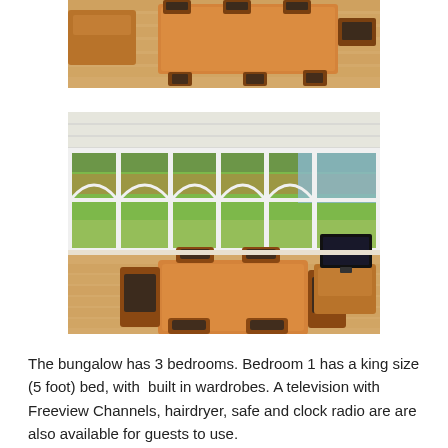[Figure (photo): Overhead view of a wooden dining table with chairs on light hardwood floor, sideboard visible in background]
[Figure (photo): Conservatory room with large white-framed windows overlooking a garden, wooden dining table and chairs, and a flat-screen TV on a wooden cabinet, light hardwood floor]
The bungalow has 3 bedrooms. Bedroom 1 has a king size (5 foot) bed, with built in wardrobes. A television with Freeview Channels, hairdryer, safe and clock radio are are also available for guests to use.